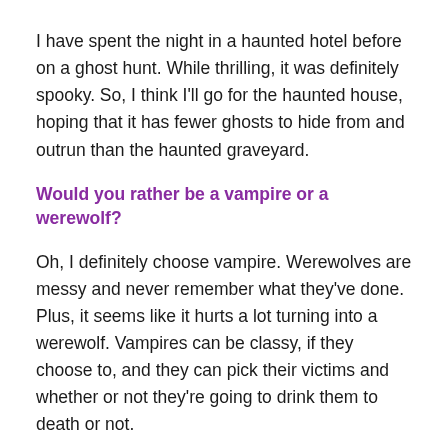I have spent the night in a haunted hotel before on a ghost hunt. While thrilling, it was definitely spooky. So, I think I'll go for the haunted house, hoping that it has fewer ghosts to hide from and outrun than the haunted graveyard.
Would you rather be a vampire or a werewolf?
Oh, I definitely choose vampire. Werewolves are messy and never remember what they've done. Plus, it seems like it hurts a lot turning into a werewolf. Vampires can be classy, if they choose to, and they can pick their victims and whether or not they're going to drink them to death or not.